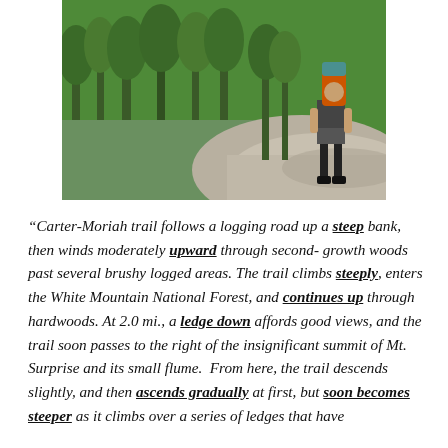[Figure (photo): A hiker with a large backpack and orange gear standing on a granite ledge overlooking a forested mountain valley with coniferous trees under a sunny sky.]
“Carter-Moriah trail follows a logging road up a steep bank, then winds moderately upward through second-growth woods past several brushy logged areas. The trail climbs steeply, enters the White Mountain National Forest, and continues up through hardwoods. At 2.0 mi., a ledge down affords good views, and the trail soon passes to the right of the insignificant summit of Mt. Surprise and its small flume. From here, the trail descends slightly, and then ascends gradually at first, but soon becomes steeper as it climbs over a series of ledges that have